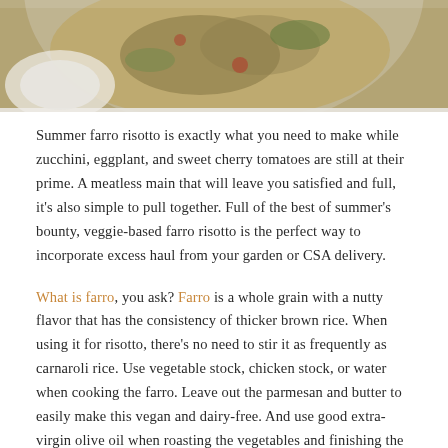[Figure (photo): Top-down view of a bowl of summer farro risotto with vegetables including zucchini, eggplant, and cherry tomatoes, on a white surface with a small bowl of sauce.]
Summer farro risotto is exactly what you need to make while zucchini, eggplant, and sweet cherry tomatoes are still at their prime. A meatless main that will leave you satisfied and full, it's also simple to pull together. Full of the best of summer's bounty, veggie-based farro risotto is the perfect way to incorporate excess haul from your garden or CSA delivery.
What is farro, you ask? Farro is a whole grain with a nutty flavor that has the consistency of thicker brown rice. When using it for risotto, there's no need to stir it as frequently as carnaroli rice. Use vegetable stock, chicken stock, or water when cooking the farro. Leave out the parmesan and butter to easily make this vegan and dairy-free. And use good extra-virgin olive oil when roasting the vegetables and finishing the dish before serving.